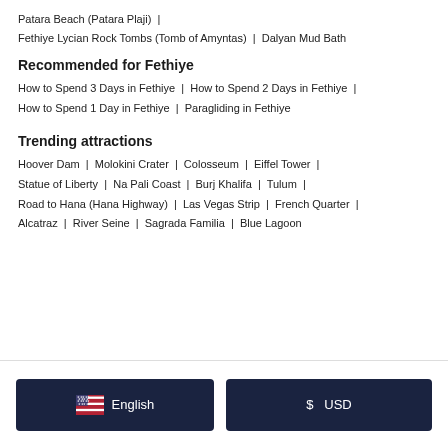Patara Beach (Patara Plaji) | Fethiye Lycian Rock Tombs (Tomb of Amyntas) | Dalyan Mud Bath
Recommended for Fethiye
How to Spend 3 Days in Fethiye | How to Spend 2 Days in Fethiye | How to Spend 1 Day in Fethiye | Paragliding in Fethiye
Trending attractions
Hoover Dam | Molokini Crater | Colosseum | Eiffel Tower | Statue of Liberty | Na Pali Coast | Burj Khalifa | Tulum | Road to Hana (Hana Highway) | Las Vegas Strip | French Quarter | Alcatraz | River Seine | Sagrada Familia | Blue Lagoon
English  $  USD